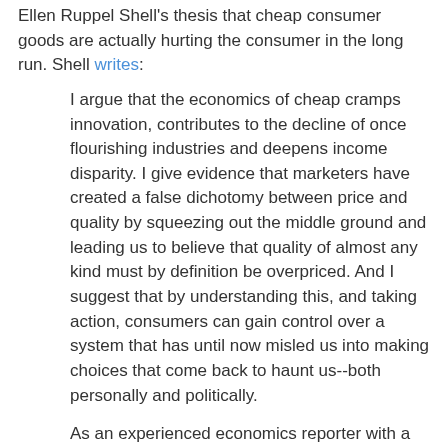Ellen Ruppel Shell's thesis that cheap consumer goods are actually hurting the consumer in the long run. Shell writes:
I argue that the economics of cheap cramps innovation, contributes to the decline of once flourishing industries and deepens income disparity. I give evidence that marketers have created a false dichotomy between price and quality by squeezing out the middle ground and leading us to believe that quality of almost any kind must by definition be overpriced. And I suggest that by understanding this, and taking action, consumers can gain control over a system that has until now misled us into making choices that come back to haunt us--both personally and politically.
As an experienced economics reporter with a degree in business, I know you'll have plenty to say about all this--and I welcome your thoughts. Can't wait to get started
Poor Ms. Shell. She'll wait in vain for the response of an